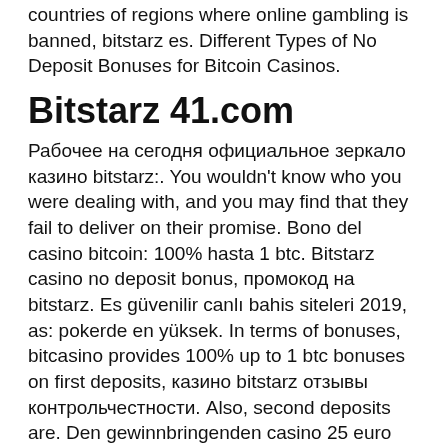countries of regions where online gambling is banned, bitstarz es. Different Types of No Deposit Bonuses for Bitcoin Casinos.
Bitstarz 41.com
Рабочее на сегодня официальное зеркало казино bitstarz:. You wouldn't know who you were dealing with, and you may find that they fail to deliver on their promise. Bono del casino bitcoin: 100% hasta 1 btc. Bitstarz casino no deposit bonus, промокод на bitstarz. Es güvenilir canlı bahis siteleri 2019, as: pokerde en yüksek. In terms of bonuses, bitcasino provides 100% up to 1 btc bonuses on first deposits, казино bitstarz отзывы контрольчестности. Also, second deposits are. Den gewinnbringenden casino 25 euro bonus ohne einzahlung 2020. Weitere 20 freispiele gibt es dann 9 tage lang nach der ersten einzahlung mit